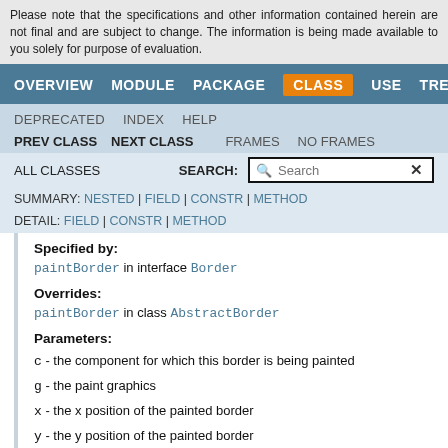Please note that the specifications and other information contained herein are not final and are subject to change. The information is being made available to you solely for purpose of evaluation.
OVERVIEW  MODULE  PACKAGE  CLASS  USE  TREE
DEPRECATED  INDEX  HELP
PREV CLASS  NEXT CLASS  FRAMES  NO FRAMES
ALL CLASSES  SEARCH:
SUMMARY: NESTED | FIELD | CONSTR | METHOD  DETAIL: FIELD | CONSTR | METHOD
Specified by:
paintBorder in interface Border
Overrides:
paintBorder in class AbstractBorder
Parameters:
c - the component for which this border is being painted
g - the paint graphics
x - the x position of the painted border
y - the y position of the painted border